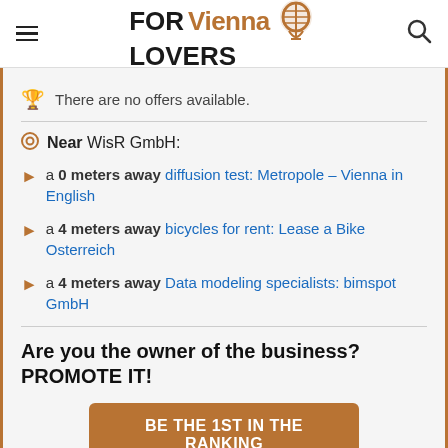FORVienna LOVERS
There are no offers available.
Near WisR GmbH:
a 0 meters away diffusion test: Metropole – Vienna in English
a 4 meters away bicycles for rent: Lease a Bike Osterreich
a 4 meters away Data modeling specialists: bimspot GmbH
Are you the owner of the business? PROMOTE IT!
BE THE 1ST IN THE RANKING